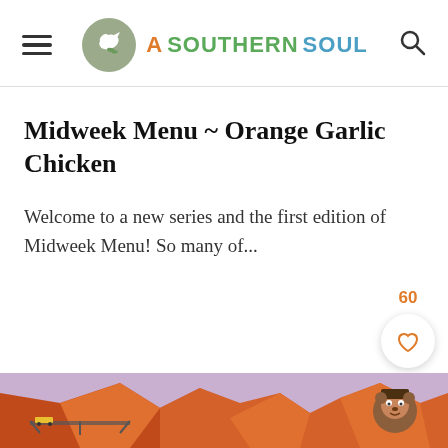A SOUTHERN SOUL
Midweek Menu ~ Orange Garlic Chicken
Welcome to a new series and the first edition of Midweek Menu! So many of...
[Figure (screenshot): Like button with count 60 and orange search button floating on right side]
[Figure (illustration): Advertisement banner showing animated canyon landscape with Smokey Bear character]